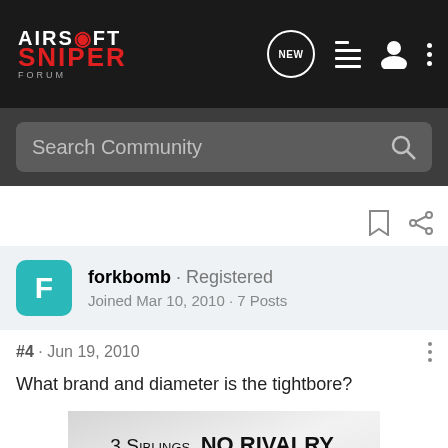[Figure (logo): Airsoft Sniper Forum logo in top left of dark navigation bar]
Airsoft Sniper Forum navigation bar with NEW, list, person, and more icons
Search Community
forkbomb · Registered
Joined Mar 10, 2010 · 7 Posts
#4 · Jun 19, 2010
What brand and diameter is the tightbore?
[Figure (photo): Advertisement banner reading: 3 SIBLINGS. NO RIVALRY.]